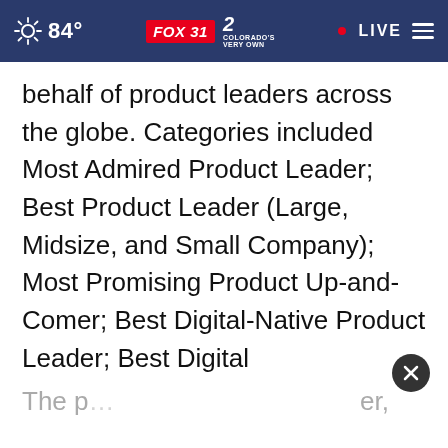84° FOX 31 2 COLORADO'S VERY OWN • LIVE
behalf of product leaders across the globe. Categories included Most Admired Product Leader; Best Product Leader (Large, Midsize, and Small Company); Most Promising Product Up-and-Comer; Best Digital-Native Product Leader; Best Digital Transformation Product Leader; Best Product Design Leader; Best Product Influencer; and Best Nonprofit Product Leader.
The p… er,
[Figure (other): Ad banner: OPUS by µmasch® OPUS Visible AFM Tips with OPEN button]